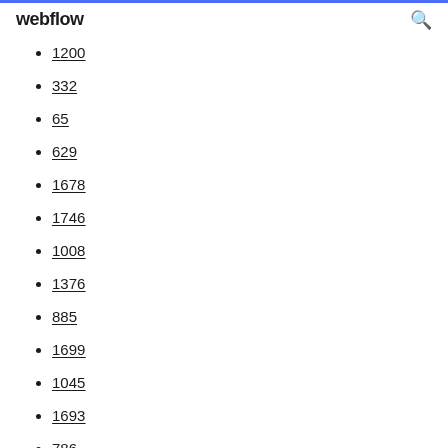webflow
1200
332
65
629
1678
1746
1008
1376
885
1699
1045
1693
786